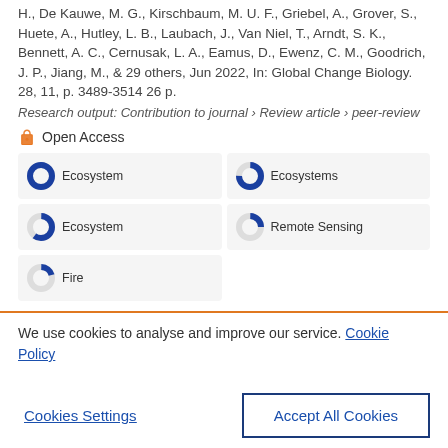H., De Kauwe, M. G., Kirschbaum, M. U. F., Griebel, A., Grover, S., Huete, A., Hutley, L. B., Laubach, J., Van Niel, T., Arndt, S. K., Bennett, A. C., Cernusak, L. A., Eamus, D., Ewenz, C. M., Goodrich, J. P., Jiang, M., & 29 others, Jun 2022, In: Global Change Biology. 28, 11, p. 3489-3514 26 p.
Research output: Contribution to journal › Review article › peer-review
Open Access
Ecosystem 100%
Ecosystems 75%
Ecosystem 60%
Remote Sensing 25%
Fire 20%
We use cookies to analyse and improve our service. Cookie Policy
Cookies Settings
Accept All Cookies